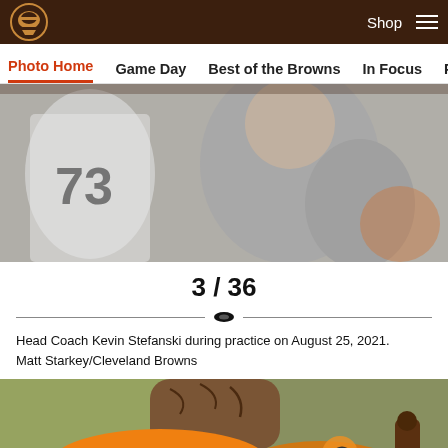Cleveland Browns - Shop - Navigation menu
Photo Home | Game Day | Best of the Browns | In Focus | Practice
[Figure (photo): Head Coach Kevin Stefanski from behind during practice, player wearing #73 visible in background, orange gear visible.]
3 / 36
Head Coach Kevin Stefanski during practice on August 25, 2021.
Matt Starkey/Cleveland Browns
[Figure (photo): Close-up of orange athletic shoes/cleats with Reese's branding, tattoos visible on player's ankle/leg.]